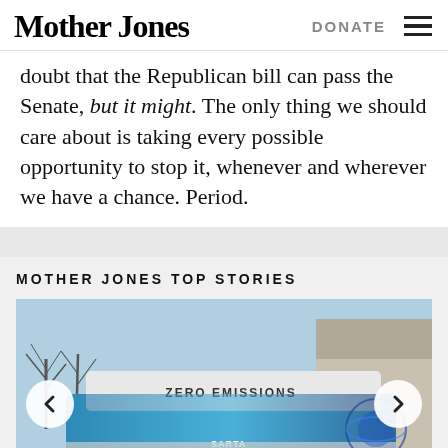Mother Jones | DONATE
doubt that the Republican bill can pass the Senate, but it might. The only thing we should care about is taking every possible opportunity to stop it, whenever and wherever we have a chance. Period.
MOTHER JONES TOP STORIES
[Figure (photo): A blue hydrogen fuel cell bus with 'ZERO EMISSIONS' written on its side, 'SARTA' branding, and 'H2 H2O' text on the lower body. Navigation arrows on left and right sides of carousel.]